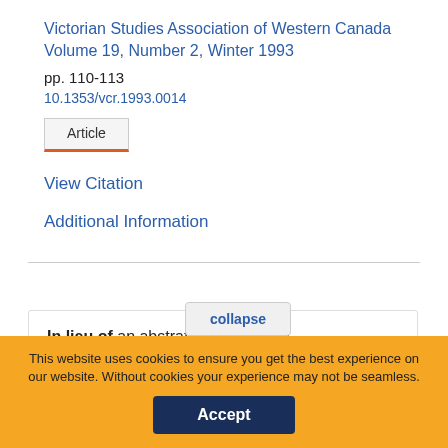Victorian Studies Association of Western Canada
Volume 19, Number 2, Winter 1993
pp. 110-113
10.1353/vcr.1993.0014
Article
View Citation
Additional Information
In lieu of an abstract, here is a brief excerpt of the
collapse
You are not currently authenticated.
If you would like to authenticate using a different subscribed institution or
This website uses cookies to ensure you get the best experience on our website. Without cookies your experience may not be seamless.
Accept